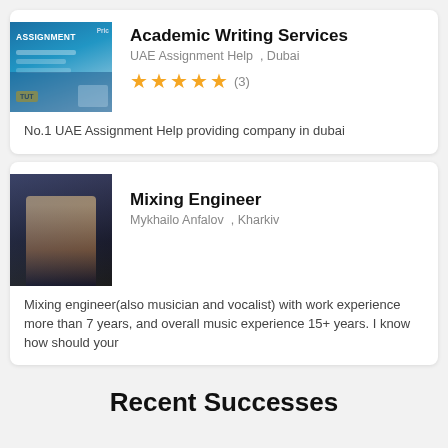[Figure (screenshot): Screenshot of an assignment help website with blue background, showing a person studying]
Academic Writing Services
UAE Assignment Help , Dubai
★★★★★ (3)
No.1 UAE Assignment Help providing company in dubai
[Figure (photo): Photo of a young man in a tuxedo, dark background]
Mixing Engineer
Mykhailo Anfalov , Kharkiv
Mixing engineer(also musician and vocalist) with work experience more than 7 years, and overall music experience 15+ years. I know how should your
Recent Successes